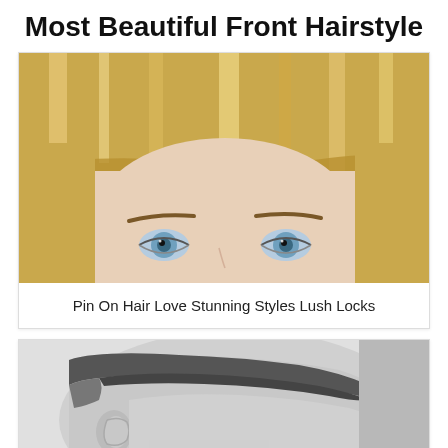Most Beautiful Front Hairstyle
[Figure (photo): Close-up photo of a woman with a tall blonde beehive updo hairstyle, showing her forehead, eyebrows, and blue-green eyes against a light background]
Pin On Hair Love Stunning Styles Lush Locks
[Figure (photo): Black and white close-up side profile photo of a man with a short fade haircut, showing his ear, temple, and the side of his face]